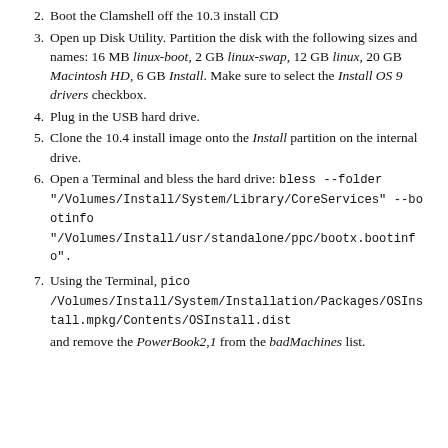2. Boot the Clamshell off the 10.3 install CD
3. Open up Disk Utility. Partition the disk with the following sizes and names: 16 MB linux-boot, 2 GB linux-swap, 12 GB linux, 20 GB Macintosh HD, 6 GB Install. Make sure to select the Install OS 9 drivers checkbox.
4. Plug in the USB hard drive.
5. Clone the 10.4 install image onto the Install partition on the internal drive.
6. Open a Terminal and bless the hard drive: bless --folder "/Volumes/Install/System/Library/CoreServices" --bootinfo "/Volumes/Install/usr/standalone/ppc/bootx.bootinfo".
7. Using the Terminal, pico /Volumes/Install/System/Installation/Packages/OSInstall.mpkg/Contents/OSInstall.dist and remove the PowerBook2,1 from the badMachines list.